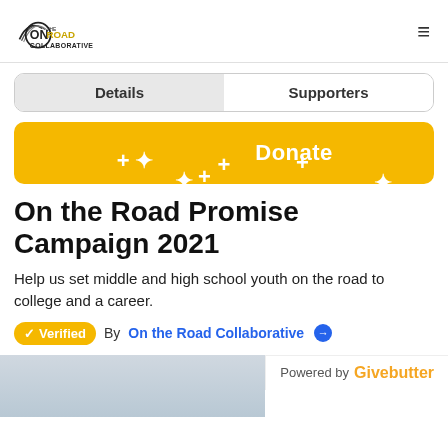On the Road Collaborative — navigation header with logo and hamburger menu
Details | Supporters
Donate
On the Road Promise Campaign 2021
Help us set middle and high school youth on the road to college and a career.
Verified By On the Road Collaborative
[Figure (photo): Partial outdoor photo at bottom left, trees visible. Powered by Givebutter badge at bottom right.]